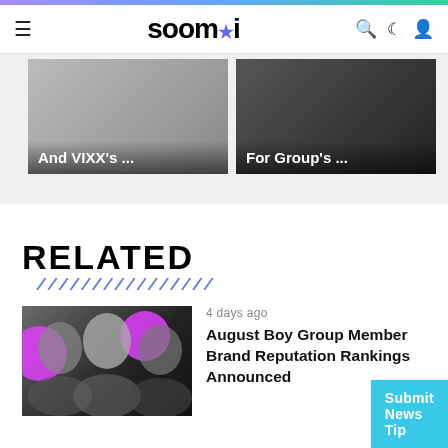soompi
[Figure (photo): Two article thumbnail cards: left card shows 'And VIXX's ...' overlay, right card shows 'For Group's ...' overlay, on a light gray background]
RELATED
[Figure (photo): Thumbnail image of three K-pop male group members with pink circle accents]
4 days ago
August Boy Group Member Brand Reputation Rankings Announced
Submit News Tip